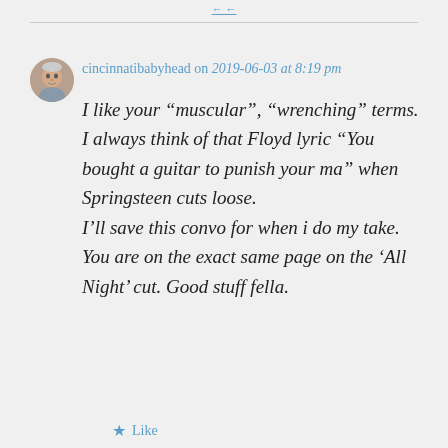cincinnatibabyhead on 2019-06-03 at 8:19 pm
I like your “muscular”, “wrenching” terms. I always think of that Floyd lyric “You bought a guitar to punish your ma” when Springsteen cuts loose.
I’ll save this convo for when i do my take. You are on the exact same page on the ‘All Night’ cut. Good stuff fella.
Like